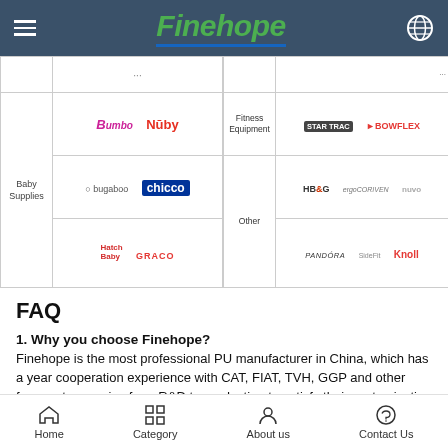Finehope
[Figure (table-as-image): Brand logos table showing Baby Supplies (Bumbo, Nuby, Bugaboo, Chicco, Hatch Baby, Graco) and Fitness Equipment/Other (Star Trac, Bowflex, HB&G, ErgoDriven, Nuvo, Pandora, SideFit, Knoll)]
FAQ
1. Why you choose Finehope?
Finehope is the most professional PU manufacturer in China, which has a year cooperation experience with CAT, FIAT, TVH, GGP and other famou step service from R&D to production to satisfy their customization needs.
2. What are the advantages of choosing Finehope?
1)      Product quality assurance, delivery guarantee, good after-
Home  Category  About us  Contact Us